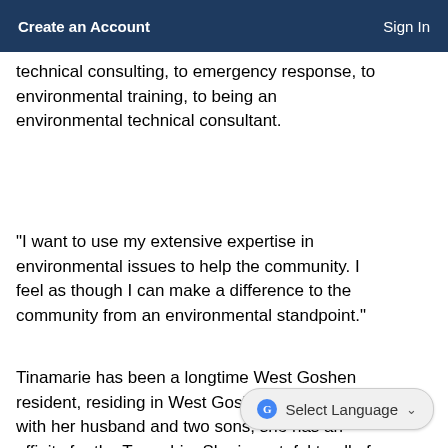Create an Account   Sign In
technical consulting, to emergency response, to environmental training, to being an environmental technical consultant.
“I want to use my extensive expertise in environmental issues to help the community. I feel as though I can make a difference to the community from an environmental standpoint.”
Tinamarie has been a longtime West Goshen resident, residing in West Goshen for 56 years with her husband and two sons; she has an affinity for the Township. She is grateful to all of her mentors who helped her to get